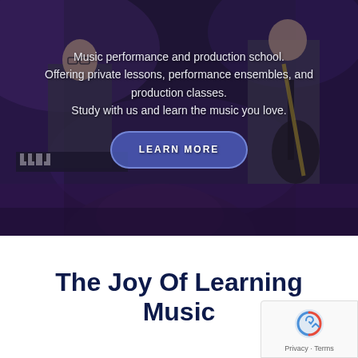[Figure (photo): Two young students performing on stage: a boy with glasses at keyboard, another student playing guitar wearing a Nirvana t-shirt, with purple stage lighting in the background]
Music performance and production school. Offering private lessons, performance ensembles, and production classes. Study with us and learn the music you love.
LEARN MORE
The Joy Of Learning Music
[Figure (logo): reCAPTCHA badge with Privacy and Terms links]